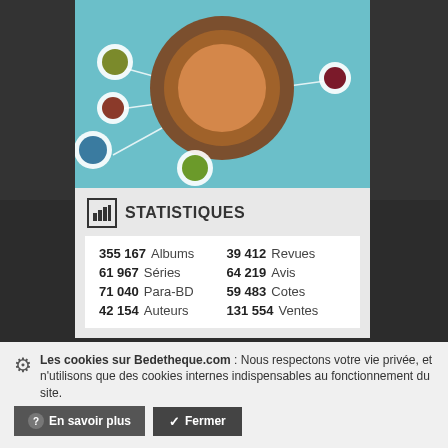[Figure (illustration): Stylized network/bubble diagram on teal background with large brown concentric circles in center, connected by white lines to smaller colored circles (olive, red-brown, teal/blue, green, dark red)]
STATISTIQUES
| 355 167 | Albums | 39 412 | Revues |
| 61 967 | Séries | 64 219 | Avis |
| 71 040 | Para-BD | 59 483 | Cotes |
| 42 154 | Auteurs | 131 554 | Ventes |
[Figure (photo): Thumbnail image of a comic book cover - dark toned, text reads UN ARTE PAS POUR L'HOMME and UNCACHE-POTTE]
ACCÈS DIRECT AUX LISTES
Les cookies sur Bedetheque.com : Nous respectons votre vie privée, et n'utilisons que des cookies internes indispensables au fonctionnement du site.
En savoir plus
Fermer